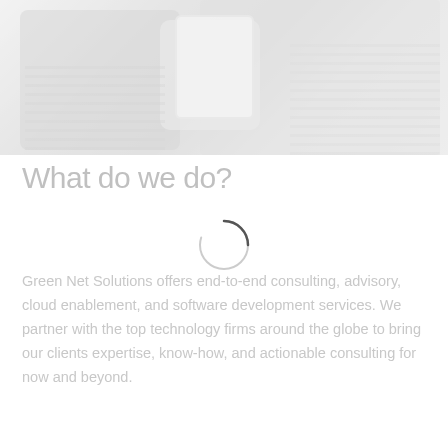[Figure (photo): Faded/washed-out photo of people holding a tablet device showing charts, with a white overlay making it very light]
What do we do?
[Figure (other): Loading spinner circle (partial arc) indicating a page loading state]
Green Net Solutions offers end-to-end consulting, advisory, cloud enablement, and software development services. We partner with the top technology firms around the globe to bring our clients expertise, know-how, and actionable consulting for now and beyond.